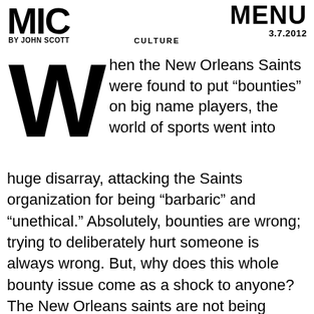MIC | BY JOHN SCOTT | CULTURE | MENU 3.7.2012
When the New Orleans Saints were found to put “bounties” on big name players, the world of sports went into huge disarray, attacking the Saints organization for being “barbaric” and “unethical.” Absolutely, bounties are wrong; trying to deliberately hurt someone is always wrong. But, why does this whole bounty issue come as a shock to anyone? The New Orleans saints are not being treated fairly or right by the media or the public, who are making way too much out of “bounties.”